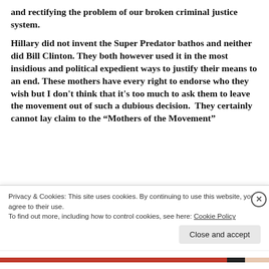and rectifying the problem of our broken criminal justice system.
Hillary did not invent the Super Predator bathos and neither did Bill Clinton. They both however used it in the most insidious and political expedient ways to justify their means to an end. These mothers have every right to endorse who they wish but I don't think that it's too much to ask them to leave the movement out of such a dubious decision.  They certainly cannot lay claim to the “Mothers of the Movement”
Privacy & Cookies: This site uses cookies. By continuing to use this website, you agree to their use.
To find out more, including how to control cookies, see here: Cookie Policy